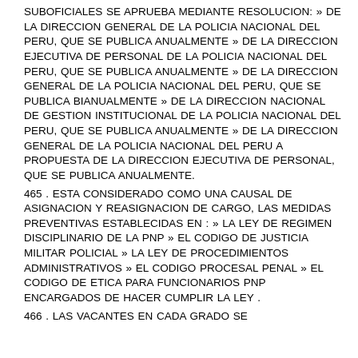SUBOFICIALES SE APRUEBA MEDIANTE RESOLUCION: » DE LA DIRECCION GENERAL DE LA POLICIA NACIONAL DEL PERU, QUE SE PUBLICA ANUALMENTE » DE LA DIRECCION EJECUTIVA DE PERSONAL DE LA POLICIA NACIONAL DEL PERU, QUE SE PUBLICA ANUALMENTE » DE LA DIRECCION GENERAL DE LA POLICIA NACIONAL DEL PERU, QUE SE PUBLICA BIANUALMENTE » DE LA DIRECCION NACIONAL DE GESTION INSTITUCIONAL DE LA POLICIA NACIONAL DEL PERU, QUE SE PUBLICA ANUALMENTE » DE LA DIRECCION GENERAL DE LA POLICIA NACIONAL DEL PERU A PROPUESTA DE LA DIRECCION EJECUTIVA DE PERSONAL, QUE SE PUBLICA ANUALMENTE.
465 . ESTA CONSIDERADO COMO UNA CAUSAL DE ASIGNACION Y REASIGNACION DE CARGO, LAS MEDIDAS PREVENTIVAS ESTABLECIDAS EN : » LA LEY DE REGIMEN DISCIPLINARIO DE LA PNP » EL CODIGO DE JUSTICIA MILITAR POLICIAL » LA LEY DE PROCEDIMIENTOS ADMINISTRATIVOS » EL CODIGO PROCESAL PENAL » EL CODIGO DE ETICA PARA FUNCIONARIOS PNP ENCARGADOS DE HACER CUMPLIR LA LEY .
466 . LAS VACANTES EN CADA GRADO SE